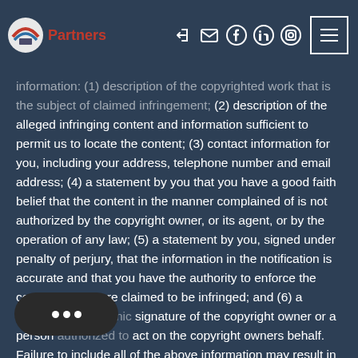Partners
information: (1) description of the copyrighted work that is the subject of claimed infringement; (2) description of the alleged infringing content and information sufficient to permit us to locate the content; (3) contact information for you, including your address, telephone number and email address; (4) a statement by you that you have a good faith belief that the content in the manner complained of is not authorized by the copyright owner, or its agent, or by the operation of any law; (5) a statement by you, signed under penalty of perjury, that the information in the notification is accurate and that you have the authority to enforce the copyrights that are claimed to be infringed; and (6) a physical or electronic signature of the copyright owner or a person authorized to act on the copyright owners behalf. Failure to include all of the above information may result in the delay of the